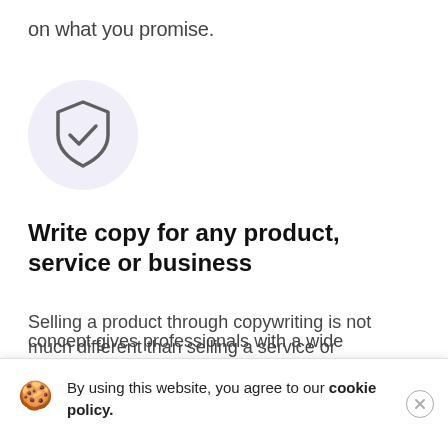on what you promise.
[Figure (illustration): Light purple circle background with a grey shield checkmark icon in the center]
Write copy for any product, service or business
Selling a product through copywriting is not much different than selling a service or
concept gives professionals with a wide
By using this website, you agree to our cookie policy.